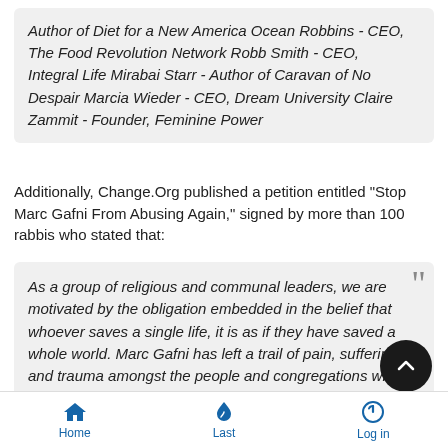Author of Diet for a New America Ocean Robbins - CEO, The Food Revolution Network Robb Smith - CEO, Integral Life Mirabai Starr - Author of Caravan of No Despair Marcia Wieder - CEO, Dream University Claire Zammit - Founder, Feminine Power
Additionally, Change.Org published a petition entitled "Stop Marc Gafni From Abusing Again," signed by more than 100 rabbis who stated that:
As a group of religious and communal leaders, we are motivated by the obligation embedded in the belief that whoever saves a single life, it is as if they have saved a whole world. Marc Gafni has left a trail of pain, suffering, and trauma amongst the people and congregations who were unfortunate to have trusted him. He has abused his
Home  Last  Log in